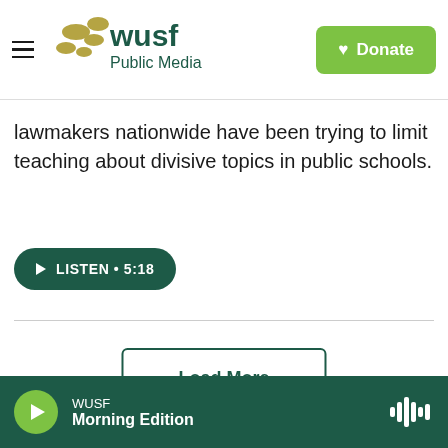WUSF Public Media | Donate
lawmakers nationwide have been trying to limit teaching about divisive topics in public schools.
LISTEN • 5:18
Load More
WUSF Morning Edition